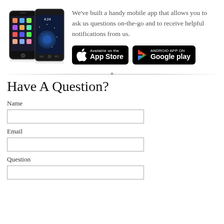[Figure (photo): Two smartphones side by side — an iPhone and an Android phone]
We've built a handy mobile app that allows you to ask us questions on-the-go and to receive helpful notifications from us.
[Figure (other): App Store download button (black rounded rectangle)]
[Figure (other): Google Play Android App download button (black rounded rectangle)]
Have A Question?
Name
Email
Question